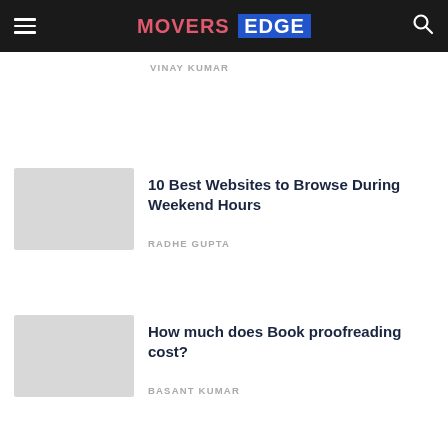MOVERS EDGE
VINAY KUMAR
10 Best Websites to Browse During Weekend Hours
RADHE GUPTA
How much does Book proofreading cost?
BASANT KUMAR